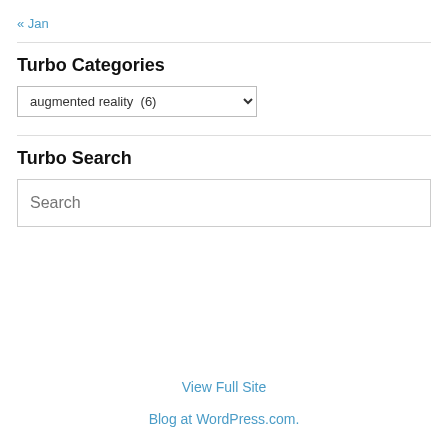« Jan
Turbo Categories
augmented reality  (6)
Turbo Search
Search
View Full Site
Blog at WordPress.com.